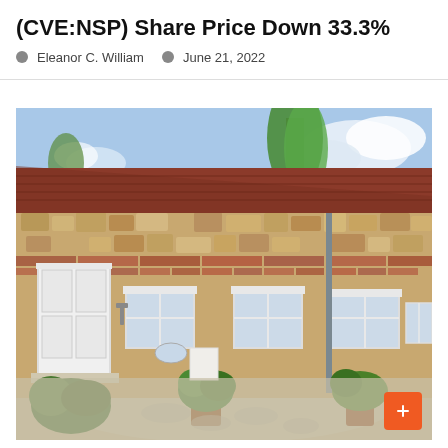(CVE:NSP) Share Price Down 33.3%
Eleanor C. William   June 21, 2022
[Figure (photo): Exterior photo of a traditional English stone and brick cottage with white-framed windows, a white front door, terracotta tile roof, and a gravelled courtyard garden with potted plants and green shrubs. Trees visible in background against a partly cloudy blue sky.]